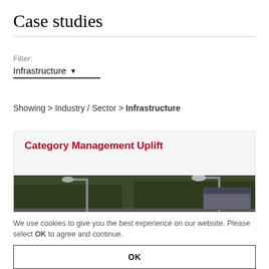Case studies
Filter:
Infrastructure ▼
Showing > Industry / Sector > Infrastructure
Category Management Uplift
[Figure (photo): Photograph of a road with street lamps and trees in the background]
We use cookies to give you the best experience on our website. Please select OK to agree and continue.
OK